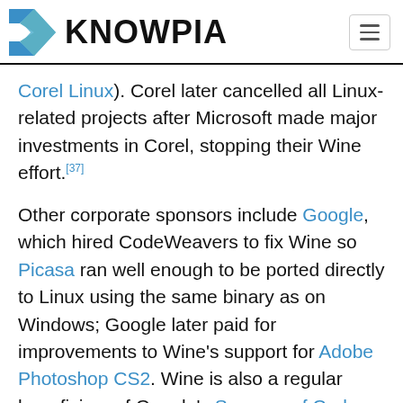KNOWPIA
Corel Linux). Corel later cancelled all Linux-related projects after Microsoft made major investments in Corel, stopping their Wine effort.[37]
Other corporate sponsors include Google, which hired CodeWeavers to fix Wine so Picasa ran well enough to be ported directly to Linux using the same binary as on Windows; Google later paid for improvements to Wine's support for Adobe Photoshop CS2. Wine is also a regular beneficiary of Google's Summer of Code program.[38][39]
Design  Edit
The goal of Wine is to implement the Windows APIs fully or partially that are required by programs that the